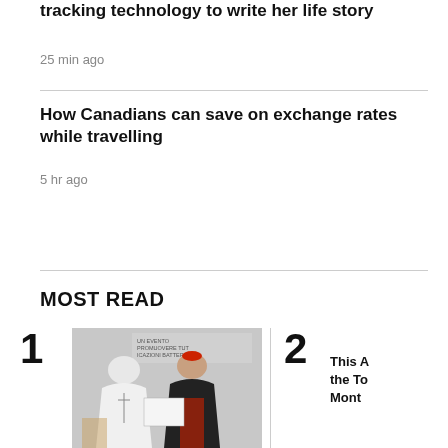tracking technology to write her life story
25 min ago
How Canadians can save on exchange rates while travelling
5 hr ago
MOST READ
1
[Figure (photo): Two religious figures, one in white papal robes and one in red cardinal vestments, looking at a document together at what appears to be a Vatican event.]
2
This A the To Mont